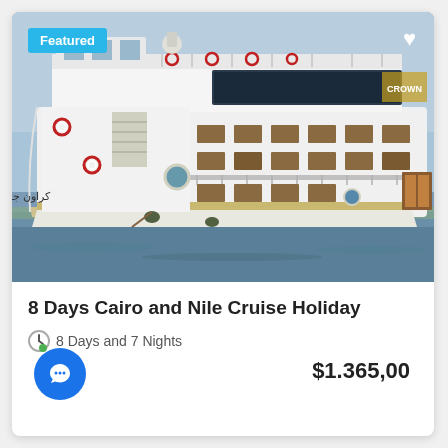[Figure (photo): Photograph of a large white Nile cruise ship named Crown Jubilee on the Nile River, with multiple decks, cabin windows, life rings, and an Arabic name on the bow. Blue sky background.]
8 Days Cairo and Nile Cruise Holiday
8 Days and 7 Nights
$1.365,00